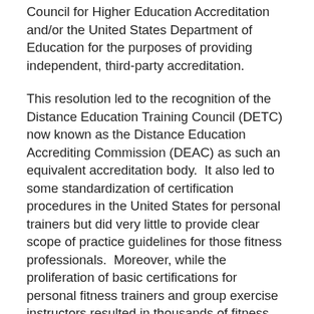Council for Higher Education Accreditation and/or the United States Department of Education for the purposes of providing independent, third-party accreditation.
This resolution led to the recognition of the Distance Education Training Council (DETC) now known as the Distance Education Accrediting Commission (DEAC) as such an equivalent accreditation body.  It also led to some standardization of certification procedures in the United States for personal trainers but did very little to provide clear scope of practice guidelines for those fitness professionals.  Moreover, while the proliferation of basic certifications for personal fitness trainers and group exercise instructors resulted in thousands of fitness professionals becoming certified by accredited certifiers in these